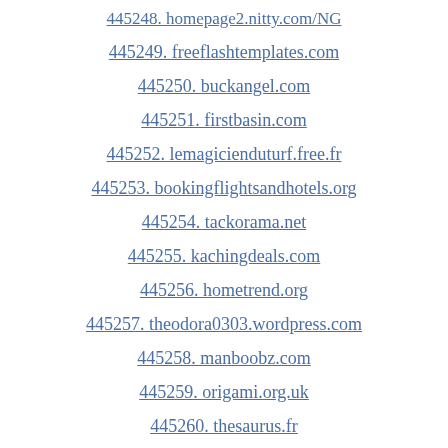445248. homepage2.nitty.com/NG
445249. freeflashtemplates.com
445250. buckangel.com
445251. firstbasin.com
445252. lemagicienduturf.free.fr
445253. bookingflightsandhotels.org
445254. tackorama.net
445255. kachingdeals.com
445256. hometrend.org
445257. theodora0303.wordpress.com
445258. manboobz.com
445259. origami.org.uk
445260. thesaurus.fr
445261. saint-tropez.fr
445262. shortstory.in